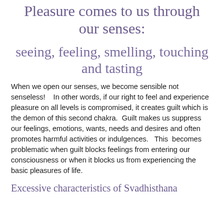Pleasure comes to us through our senses:
seeing, feeling, smelling, touching and tasting
When we open our senses, we become sensible not senseless!   In other words, if our right to feel and experience pleasure on all levels is compromised, it creates guilt which is the demon of this second chakra.  Guilt makes us suppress our feelings, emotions, wants, needs and desires and often promotes harmful activities or indulgences.  This  becomes problematic when guilt blocks feelings from entering our consciousness or when it blocks us from experiencing the basic pleasures of life.
Excessive characteristics of Svadhisthana